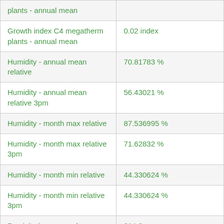| plants - annual mean |  |
| Growth index C4 megatherm plants - annual mean | 0.02 index |
| Humidity - annual mean relative | 70.81783 % |
| Humidity - annual mean relative 3pm | 56.43021 % |
| Humidity - month max relative | 87.536995 % |
| Humidity - month max relative 3pm | 71.62832 % |
| Humidity - month min relative | 44.330624 % |
| Humidity - month min relative 3pm | 44.330624 % |
| Precipitation - annual | 214.0 mm |
| Precipitation - annual (Bio12) | 223.0 mm |
| Precipitation - annual mean | 17.785355 mm |
| Precipitation - annual | 0.2341295 |